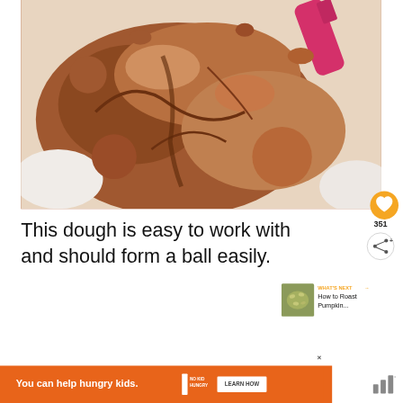[Figure (photo): Close-up photo of chocolate cookie dough being mixed in a white bowl, with a pink spatula/scraper visible in the upper right corner. The dough is brown and crumbly-textured.]
This dough is easy to work with and should form a ball easily.
[Figure (other): Orange circular heart/save button icon]
[Figure (other): 351 count and share icon button]
[Figure (other): WHAT'S NEXT arrow panel showing thumbnail image and title 'How to Roast Pumpkin...']
[Figure (other): Advertisement bar: orange background with text 'You can help hungry kids.' NO KID HUNGRY logo and LEARN HOW button. Close X button above.]